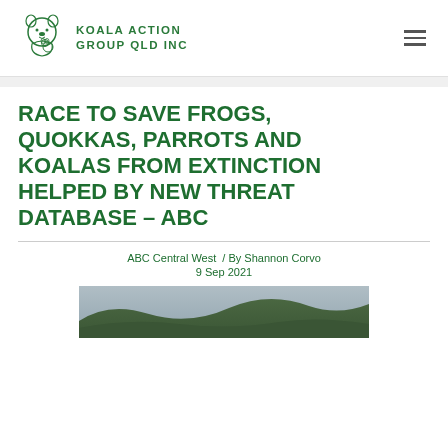[Figure (logo): Koala Action Group QLD Inc logo with koala illustration and organization name in green]
RACE TO SAVE FROGS, QUOKKAS, PARROTS AND KOALAS FROM EXTINCTION HELPED BY NEW THREAT DATABASE – ABC
ABC Central West  / By Shannon Corvo
9 Sep 2021
[Figure (photo): Landscape photo showing forested hills or mountains]